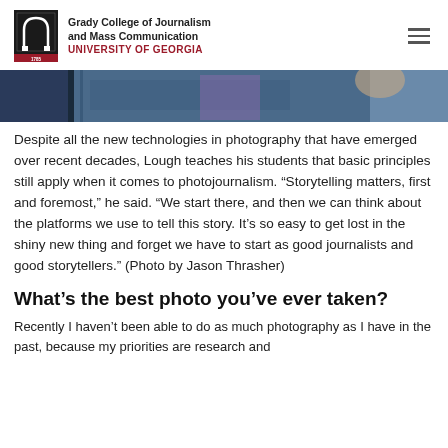Grady College of Journalism and Mass Communication UNIVERSITY OF GEORGIA
[Figure (photo): Partial photo of a person wearing a blue/denim jacket, cropped showing neck and chest area]
Despite all the new technologies in photography that have emerged over recent decades, Lough teaches his students that basic principles still apply when it comes to photojournalism. “Storytelling matters, first and foremost,” he said. “We start there, and then we can think about the platforms we use to tell this story. It’s so easy to get lost in the shiny new thing and forget we have to start as good journalists and good storytellers.” (Photo by Jason Thrasher)
What’s the best photo you’ve ever taken?
Recently I haven’t been able to do as much photography as I have in the past, because my priorities are research and